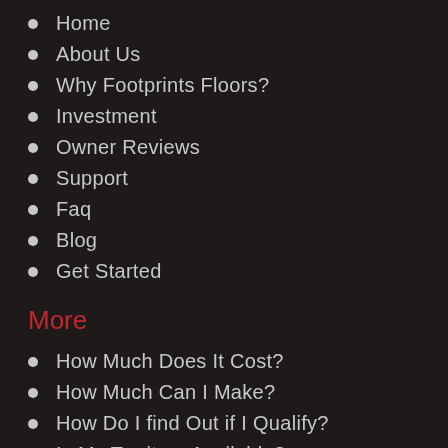Home
About Us
Why Footprints Floors?
Investment
Owner Reviews
Support
Faq
Blog
Get Started
More
How Much Does It Cost?
How Much Can I Make?
How Do I find Out if I Qualify?
Is My Territory Available?
What Makes Footprints Floors Different?
Privacy Policy
Terms and Conditions